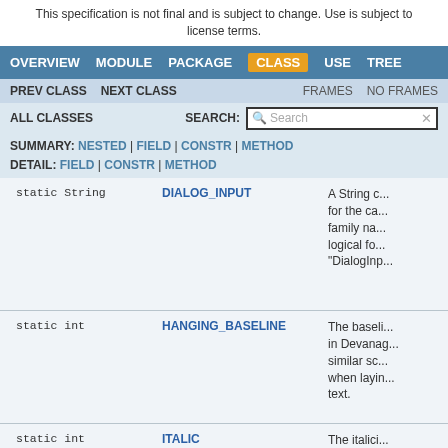This specification is not final and is subject to change. Use is subject to license terms.
OVERVIEW  MODULE  PACKAGE  CLASS  USE  TREE
PREV CLASS  NEXT CLASS  FRAMES  NO FRAMES
ALL CLASSES  SEARCH: [Search]
SUMMARY: NESTED | FIELD | CONSTR | METHOD
DETAIL: FIELD | CONSTR | METHOD
| Type | Field | Description |
| --- | --- | --- |
| static String | DIALOG_INPUT | A String c... for the ca... family na... logical fo... "DialogInp... |
| static int | HANGING_BASELINE | The baseli... in Devanag... similar sc... when layin... text. |
| static int | ITALIC | The italici... constant. |